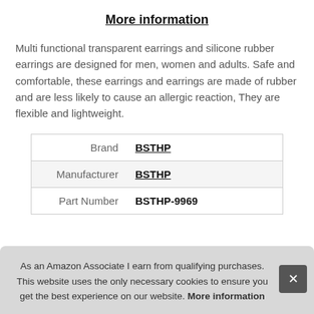More information
Multi functional transparent earrings and silicone rubber earrings are designed for men, women and adults. Safe and comfortable, these earrings and earrings are made of rubber and are less likely to cause an allergic reaction, They are flexible and lightweight.
| Brand | BSTHP |
| Manufacturer | BSTHP |
| Part Number | BSTHP-9969 |
As an Amazon Associate I earn from qualifying purchases. This website uses the only necessary cookies to ensure you get the best experience on our website. More information